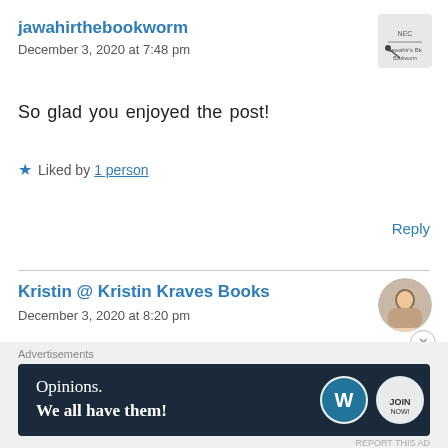jawahirthebookworm
December 3, 2020 at 7:48 pm
So glad you enjoyed the post!
Liked by 1 person
Reply
[Figure (logo): Small avatar/logo for jawahirthebookworm user]
Kristin @ Kristin Kraves Books
December 3, 2020 at 8:20 pm
This is genius! I adored The Poppy War and I think I have
[Figure (photo): Avatar photo of Kristin, a woman]
Advertisements
[Figure (screenshot): Ad banner: dark navy background, text 'Opinions. We all have them!' with WordPress and another logo]